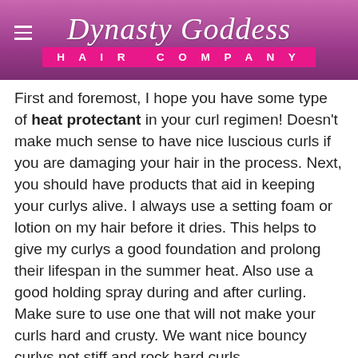Dynasty Goddess HAIR COMPANY
First and foremost, I hope you have some type of heat protectant in your curl regimen! Doesn't make much sense to have nice luscious curls if you are damaging your hair in the process. Next, you should have products that aid in keeping your curlys alive. I always use a setting foam or lotion on my hair before it dries. This helps to give my curlys a good foundation and prolong their lifespan in the summer heat. Also use a good holding spray during and after curling. Make sure to use one that will not make your curls hard and crusty. We want nice bouncy curlys not stiff and rock hard curls.
Rule # 5: Left Over Curls
You can thank me later. So you've made it home and your curlys lasted all day. Now what? You can do 1 of 2 things. Use the pineapple method so they will still be popping for